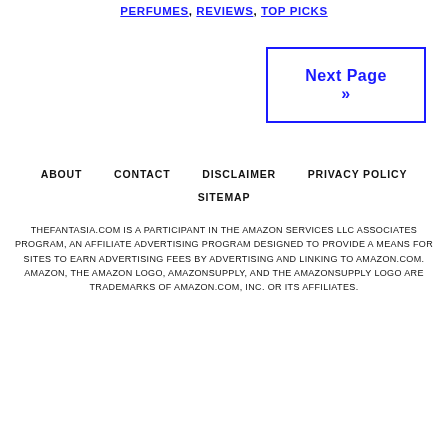PERFUMES, REVIEWS, TOP PICKS
Next Page »
ABOUT   CONTACT   DISCLAIMER   PRIVACY POLICY   SITEMAP
THEFANTASIA.COM IS A PARTICIPANT IN THE AMAZON SERVICES LLC ASSOCIATES PROGRAM, AN AFFILIATE ADVERTISING PROGRAM DESIGNED TO PROVIDE A MEANS FOR SITES TO EARN ADVERTISING FEES BY ADVERTISING AND LINKING TO AMAZON.COM. AMAZON, THE AMAZON LOGO, AMAZONSUPPLY, AND THE AMAZONSUPPLY LOGO ARE TRADEMARKS OF AMAZON.COM, INC. OR ITS AFFILIATES.